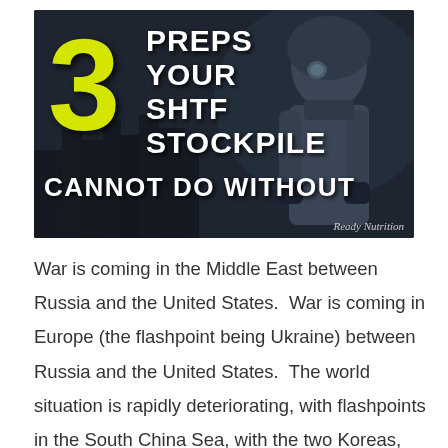[Figure (illustration): Dark themed prepper/survival image with a person in a gas mask and hazmat suit. Large yellow '3' on the left, white bold text reading 'PREPS YOUR SHTF STOCKPILE CANNOT DO WITHOUT'. Watermark 'Ready Nutrition' in bottom right.]
War is coming in the Middle East between Russia and the United States.  War is coming in Europe (the flashpoint being Ukraine) between Russia and the United States.  The world situation is rapidly deteriorating, with flashpoints in the South China Sea, with the two Koreas, and an undefined, worldwide battlefield pitting Muslim